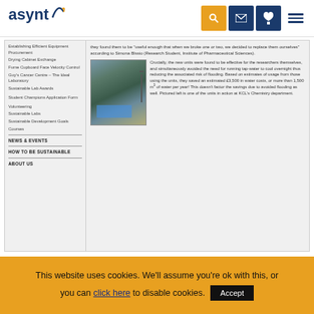Asynt - logo and navigation icons
[Figure (screenshot): Asynt website screenshot showing sidebar navigation with links and article content about air condenser units with a lab photo]
Tags: air condenser  condensyn  CondenSyn Evaluation
This website uses cookies. We'll assume you're ok with this, or you can click here to disable cookies. Accept